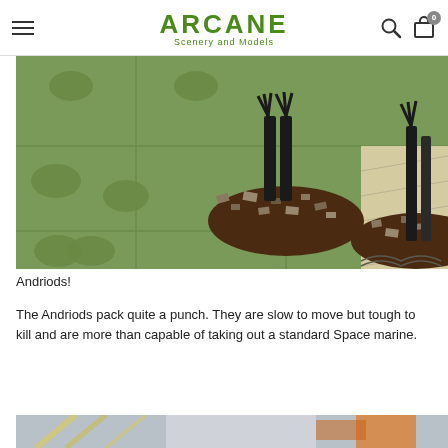ARCANE Scenery and Models
[Figure (photo): Close-up photo of two dark android/robot miniature figurines standing on a green dotted sci-fi floor tile scenery piece. The bases of the miniatures are covered in rubble/debris texture.]
Andriods!
The Andriods pack quite a punch. They are slow to move but tough to kill and are more than capable of taking out a standard Space marine.
[Figure (photo): Partial photo visible at bottom of page, showing miniature scenery or models with yellow/orange elements against a light background.]